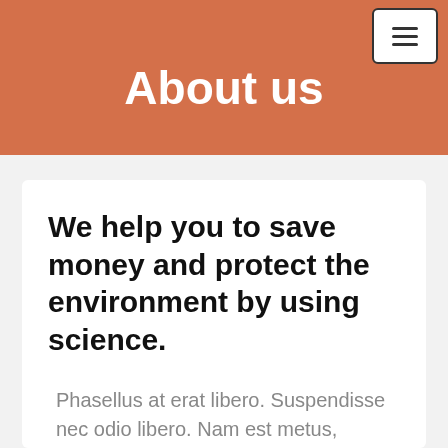≡
About us
We help you to save money and protect the environment by using science.
Phasellus at erat libero. Suspendisse nec odio libero. Nam est metus, aliquam vel pretium id, mattis sit amet diam.